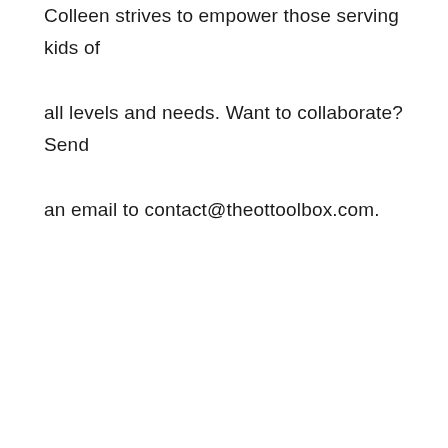Colleen strives to empower those serving kids of all levels and needs. Want to collaborate? Send an email to contact@theottoolbox.com.